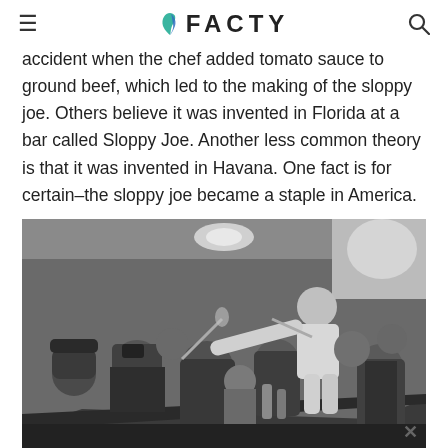FACTY
accident when the chef added tomato sauce to ground beef, which led to the making of the sloppy joe. Others believe it was invented in Florida at a bar called Sloppy Joe. Another less common theory is that it was invented in Havana. One fact is for certain–the sloppy joe became a staple in America.
[Figure (photo): Black and white historical photograph of a crowded bar scene with a bartender leaning over the bar to serve drinks to many patrons who are celebrating.]